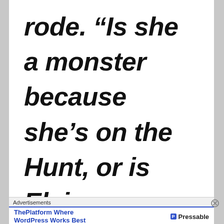rode. "Is she a monster because she's on the Hunt, or is Elvira,
Advertisements
ThePlatform Where WordPress Works Best
Pressable